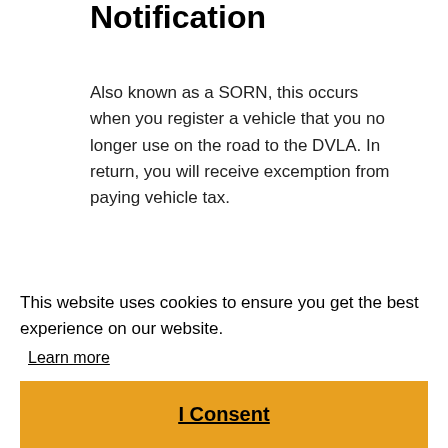Notification
Also known as a SORN, this occurs when you register a vehicle that you no longer use on the road to the DVLA. In return, you will receive excemption from paying vehicle tax.
Step start
This website uses cookies to ensure you get the best experience on our website.
Learn more
I Consent